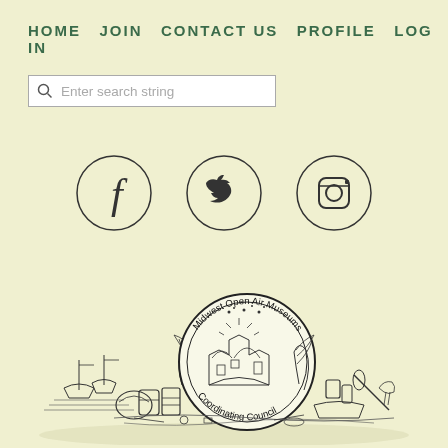HOME  JOIN  CONTACT US  PROFILE  LOG IN
[Figure (screenshot): Search bar with magnifying glass icon and placeholder text 'Enter search string']
[Figure (infographic): Three social media icons in circles: Facebook (f), Twitter (bird), Instagram (camera)]
[Figure (logo): Midwest Open Air Museums Coordinating Council circular seal/logo surrounded by detailed engraving illustration of historical rural/coastal scene with boats, barrels, plants and tools]